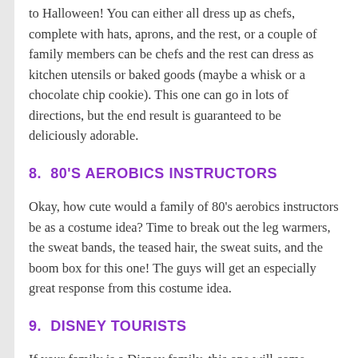to Halloween! You can either all dress up as chefs, complete with hats, aprons, and the rest, or a couple of family members can be chefs and the rest can dress as kitchen utensils or baked goods (maybe a whisk or a chocolate chip cookie). This one can go in lots of directions, but the end result is guaranteed to be deliciously adorable.
8. 80'S AEROBICS INSTRUCTORS
Okay, how cute would a family of 80's aerobics instructors be as a costume idea? Time to break out the leg warmers, the sweat bands, the teased hair, the sweat suits, and the boom box for this one! The guys will get an especially great response from this costume idea.
9. DISNEY TOURISTS
If your family is a Disney family, this one will come